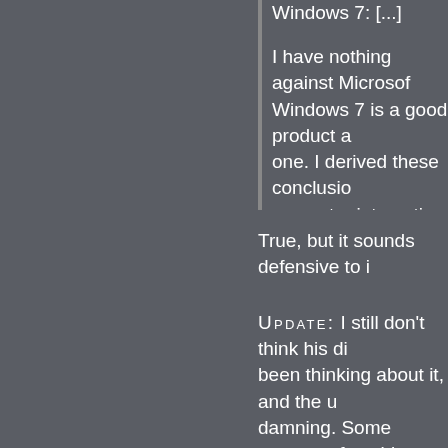Windows 7: [...]
I have nothing against Microsoft. Windows 7 is a good product and one. I derived these conclusions from computer interaction theory and new research. One doesn't have to in order to analyze its UI designs.
True, but it sounds defensive to i
UPDATE: I still don't think his di been thinking about it, and the u damning. Some aspects of usabil measured and ranked objectively a certain unique style to the syst companies. To pick one small thi and other Apple systems, close b and other Microsoft systems, the preferred the Apple style, but I a subjective preference. It's a style things like that that have always